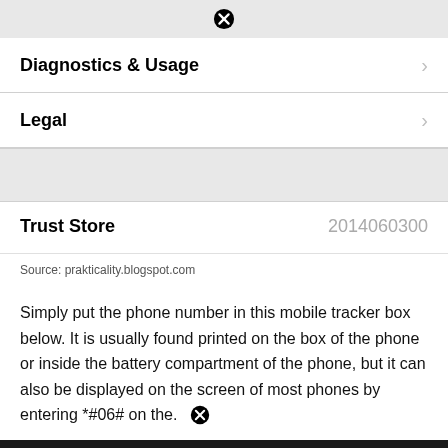[Figure (screenshot): Top gray bar with a close (X) icon button centered]
Diagnostics & Usage
Legal
Trust Store   2014060300
Source: prakticality.blogspot.com
Simply put the phone number in this mobile tracker box below. It is usually found printed on the box of the phone or inside the battery compartment of the phone, but it can also be displayed on the screen of most phones by entering *#06# on the.